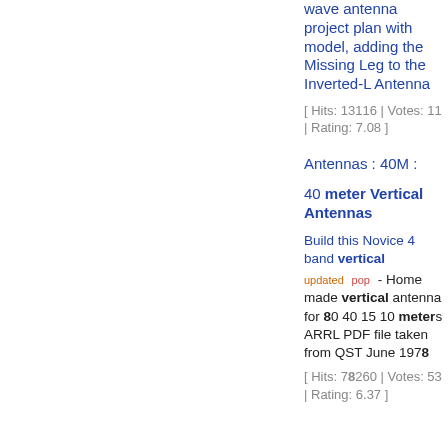wave antenna project plan with model, adding the Missing Leg to the Inverted-L Antenna
[ Hits: 13116 | Votes: 11 | Rating: 7.08 ]
Antennas : 40M :
40 meter Vertical Antennas
Build this Novice 4 band vertical
updated pop - Home made vertical antenna for 80 40 15 10 meters ARRL PDF file taken from QST June 1978
[ Hits: 78260 | Votes: 53 | Rating: 6.37 ]